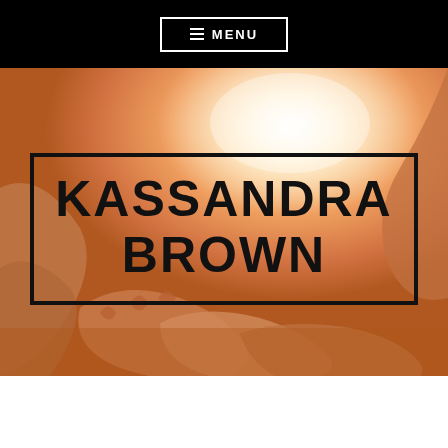≡ MENU
[Figure (photo): Warm-toned photo of hands being held together, backlit by bright sunlight, golden orange tones]
KASSANDRA BROWN